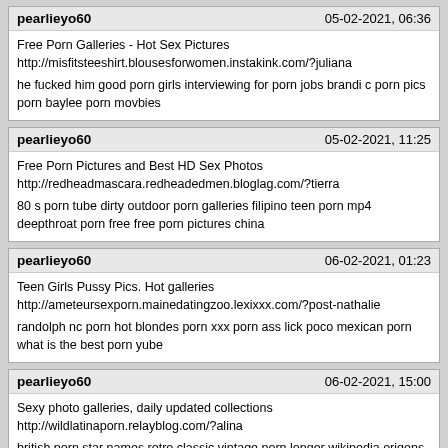pearlieyo60 | 05-02-2021, 06:36
Free Porn Galleries - Hot Sex Pictures
http://misfitsteeshirt.blousesforwomen.instakink.com/?juliana
he fucked him good porn girls interviewing for porn jobs brandi c porn pics porn baylee porn movbies
pearlieyo60 | 05-02-2021, 11:25
Free Porn Pictures and Best HD Sex Photos
http://redheadmascara.redheadedmen.bloglag.com/?tierra
80 s porn tube dirty outdoor porn galleries filipino teen porn mp4 deepthroat porn free free porn pictures china
pearlieyo60 | 06-02-2021, 01:23
Teen Girls Pussy Pics. Hot galleries
http://ameteursexporn.mainedatingzoo.lexixxx.com/?post-nathalie
randolph nc porn hot blondes porn xxx porn ass lick poco mexican porn what is the best porn yube
pearlieyo60 | 06-02-2021, 15:00
Sexy photo galleries, daily updated collections
http://wildlatinaporn.relayblog.com/?alina
british porn star names retro classic vintage porn longer wikipedia origens porn stars tiny tit porn stars bare girl porn tube
Blu-ray Disc | 06-02-2021, 15:04